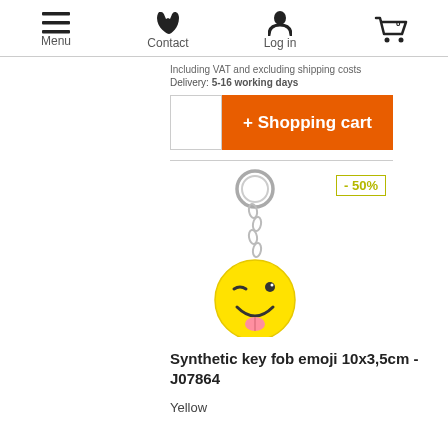Menu  Contact  Log in  [cart 0]
Including VAT and excluding shipping costs
Delivery: 5-16 working days
+ Shopping cart
[Figure (photo): Emoji winking face keychain with metal ring and chain, yellow rubber emoji pendant showing winking eye and tongue out face]
- 50%
Synthetic key fob emoji 10x3,5cm - J07864
Yellow